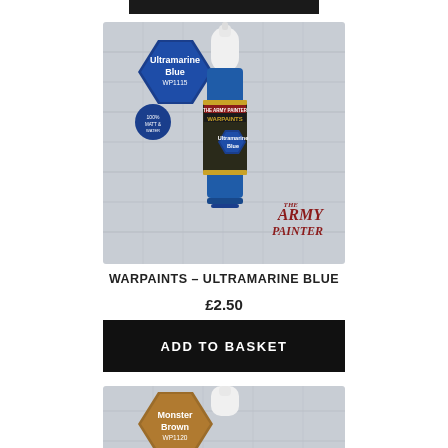[Figure (photo): Army Painter Warpaints Ultramarine Blue paint bottle product photo with hexagonal label, white dropper cap, on light grey textured background. Blue hexagon label in top left reads 'Ultramarine Blue WP1115'. The Army Painter logo in red bottom right.]
WARPAINTS – ULTRAMARINE BLUE
£2.50
ADD TO BASKET
[Figure (photo): Partial view of Army Painter Warpaints Monster Brown WP1120 paint bottle product photo, tan/brown hexagonal label visible at bottom of page.]